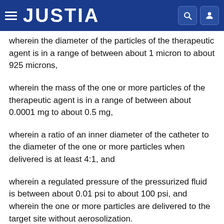JUSTIA
wherein the diameter of the particles of the therapeutic agent is in a range of between about 1 micron to about 925 microns,
wherein the mass of the one or more particles of the therapeutic agent is in a range of between about 0.0001 mg to about 0.5 mg,
wherein a ratio of an inner diameter of the catheter to the diameter of the one or more particles when delivered is at least 4:1, and
wherein a regulated pressure of the pressurized fluid is between about 0.01 psi to about 100 psi, and wherein the one or more particles are delivered to the target site without aerosolization.
2. The system of claim 1, wherein the diameter of the